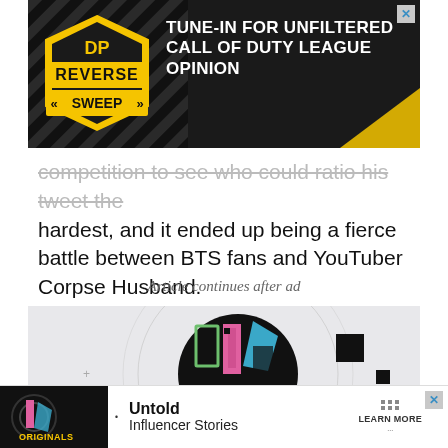[Figure (screenshot): Top advertisement banner for 'Reverse Sweep' with dark background showing logo and text: TUNE-IN FOR UNFILTERED CALL OF DUTY LEAGUE OPINION]
competition to see who could ratio his tweet the hardest, and it ended up being a fierce battle between BTS fans and YouTuber Corpse Husband.
Article continues after ad
[Figure (screenshot): Second advertisement area showing colorful abstract graphic with dark circular design and yellow text 'originals']
[Figure (screenshot): Bottom advertisement banner for 'Untold Influencer Stories' with Originals logo on dark background and LEARN MORE button]